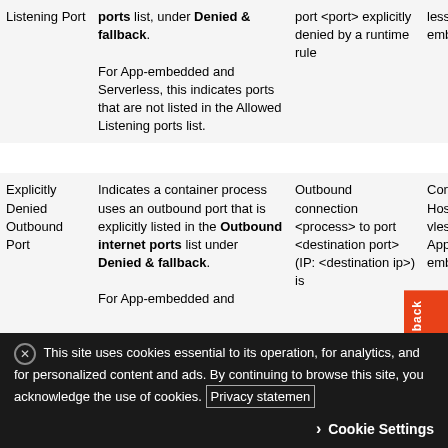|  |  |  |  |
| --- | --- | --- | --- |
| Listening Port | ports list, under Denied & fallback.

For App-embedded and Serverless, this indicates ports that are not listed in the Allowed Listening ports list. | port <port> explicitly denied by a runtime rule | less, App-embedded |
| Explicitly Denied Outbound Port | Indicates a container process uses an outbound port that is explicitly listed in the Outbound internet ports list under Denied & fallback.

For App-embedded and | Outbound connection <process> to port <destination port> (IP: <destination ip>) is | Container, Host, Serverless, App-embedded |
This site uses cookies essential to its operation, for analytics, and for personalized content and ads. By continuing to browse this site, you acknowledge the use of cookies. Privacy statement
Cookie Settings